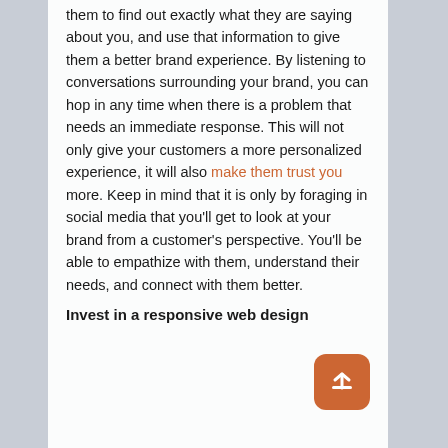them to find out exactly what they are saying about you, and use that information to give them a better brand experience. By listening to conversations surrounding your brand, you can hop in any time when there is a problem that needs an immediate response. This will not only give your customers a more personalized experience, it will also make them trust you more. Keep in mind that it is only by foraging in social media that you'll get to look at your brand from a customer's perspective. You'll be able to empathize with them, understand their needs, and connect with them better.
Invest in a responsive web design